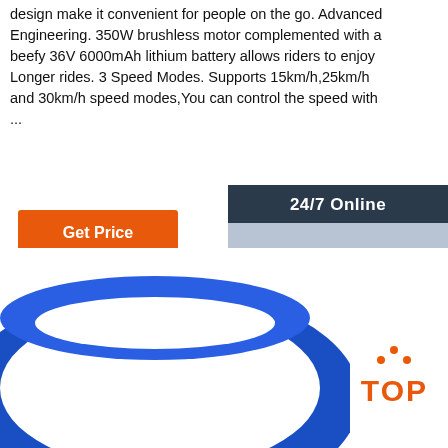design make it convenient for people on the go. Advanced Engineering. 350W brushless motor complemented with a beefy 36V 6000mAh lithium battery allows riders to enjoy Longer rides. 3 Speed Modes. Supports 15km/h,25km/h and 30km/h speed modes,You can control the speed with ...
Get Price
[Figure (infographic): Customer support chat widget with '24/7 Online' header, photo of smiling woman with headset, 'Click here for free chat!' text, and 'QUOTATION' orange button]
[Figure (photo): Blue ring/bracelet on white background with orange TOP badge logo in bottom right corner]